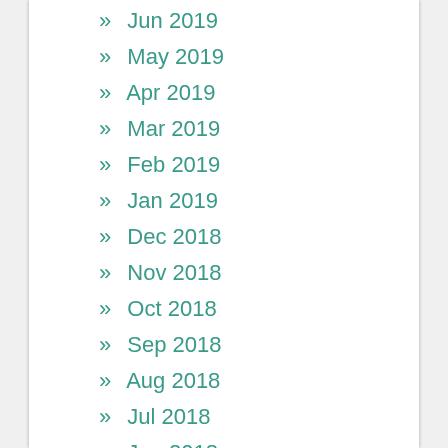» Jun 2019
» May 2019
» Apr 2019
» Mar 2019
» Feb 2019
» Jan 2019
» Dec 2018
» Nov 2018
» Oct 2018
» Sep 2018
» Aug 2018
» Jul 2018
» Jun 2018
» May 2018
» Apr 2018